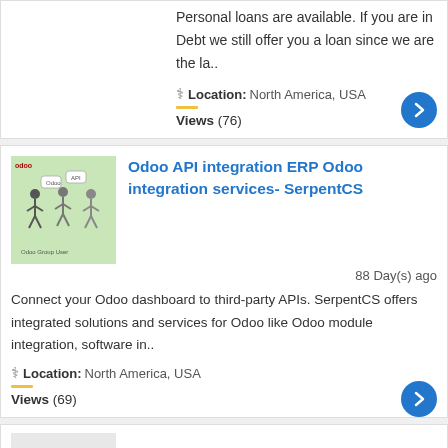Personal loans are available. If you are in Debt we still offer you a loan since we are the la..
Location: North America, USA
Views (76)
[Figure (illustration): Small illustration of people with speech bubbles and Odoo logo on green background]
Odoo API integration ERP Odoo integration services- SerpentCS
88 Day(s) ago
Connect your Odoo dashboard to third-party APIs. SerpentCS offers integrated solutions and services for Odoo like Odoo module integration, software in..
Location: North America, USA
Views (69)